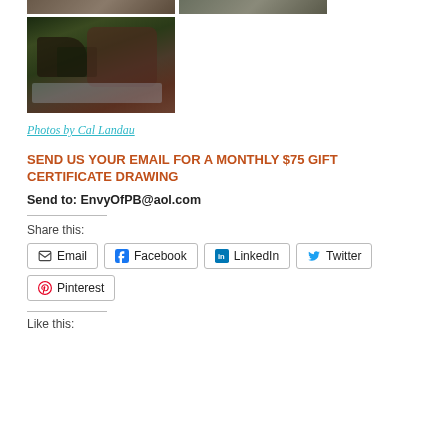[Figure (photo): Two small cropped photo thumbnails at top (partial view)]
[Figure (photo): A photo showing dark-colored shoes/accessories with green plants in background]
Photos by Cal Landau
SEND US YOUR EMAIL FOR A MONTHLY $75 GIFT CERTIFICATE DRAWING
Send to: EnvyOfPB@aol.com
Share this:
Email  Facebook  LinkedIn  Twitter  Pinterest